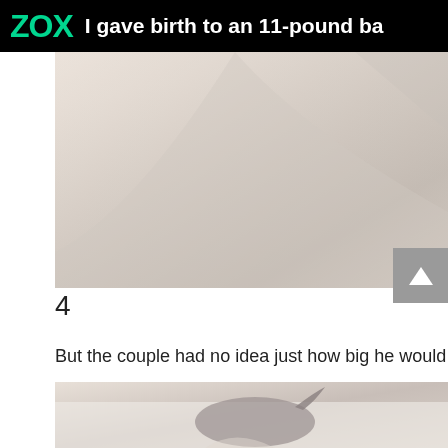ZOX  I gave birth to an 11-pound ba
[Figure (photo): Close-up photo of soft fabric or blanket in light pink/beige tones, partially cropped]
4
But the couple had no idea just how big he would
[Figure (photo): Photo of a newborn baby in grey/brown clothing lying on white fabric, partially cropped]